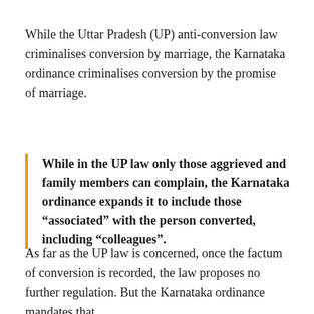While the Uttar Pradesh (UP) anti-conversion law criminalises conversion by marriage, the Karnataka ordinance criminalises conversion by the promise of marriage.
While in the UP law only those aggrieved and family members can complain, the Karnataka ordinance expands it to include those “associated” with the person converted, including “colleagues”.
As far as the UP law is concerned, once the factum of conversion is recorded, the law proposes no further regulation. But the Karnataka ordinance mandates that